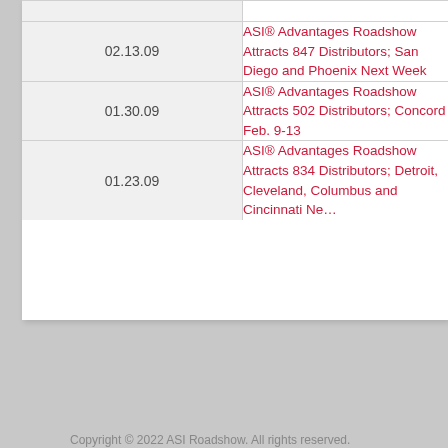| Date | Title |
| --- | --- |
| 02.13.09 | ASI® Advantages Roadshow Attracts 847 Distributors; San Diego and Phoenix Next Week |
| 01.30.09 | ASI® Advantages Roadshow Attracts 502 Distributors; Concord Feb. 9-13 |
| 01.23.09 | ASI® Advantages Roadshow Attracts 834 Distributors; Detroit, Cleveland, Columbus and Cincinnati Ne… |
Copyright © 2022 ASI Roadshow. All rights reserved.